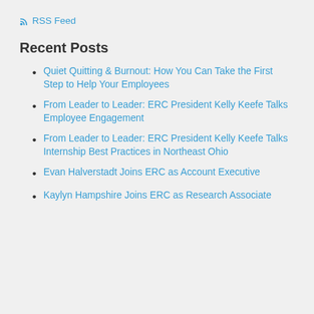RSS Feed
Recent Posts
Quiet Quitting & Burnout: How You Can Take the First Step to Help Your Employees
From Leader to Leader: ERC President Kelly Keefe Talks Employee Engagement
From Leader to Leader: ERC President Kelly Keefe Talks Internship Best Practices in Northeast Ohio
Evan Halverstadt Joins ERC as Account Executive
Kaylyn Hampshire Joins ERC as Research Associate